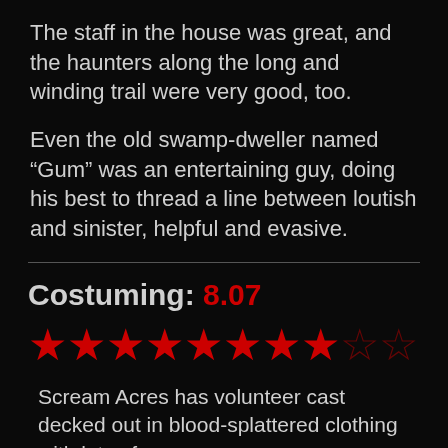The staff in the house was great, and the haunters along the long and winding trail were very good, too.
Even the old swamp-dweller named “Gum” was an entertaining guy, doing his best to thread a line between loutish and sinister, helpful and evasive.
Costuming: 8.07
[Figure (other): Star rating: 8 filled red stars, 2 empty/outline red stars]
Scream Acres has volunteer cast decked out in blood-splattered clothing with lots of